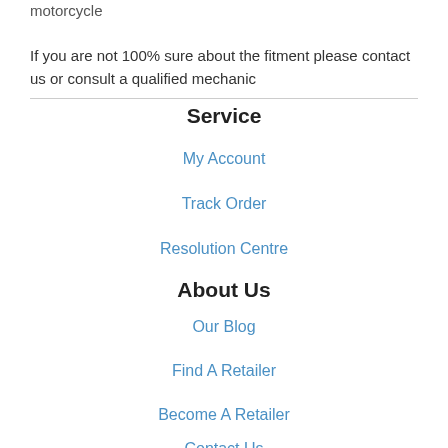motorcycle
If you are not 100% sure about the fitment please contact us or consult a qualified mechanic
Service
My Account
Track Order
Resolution Centre
About Us
Our Blog
Find A Retailer
Become A Retailer
Contact Us